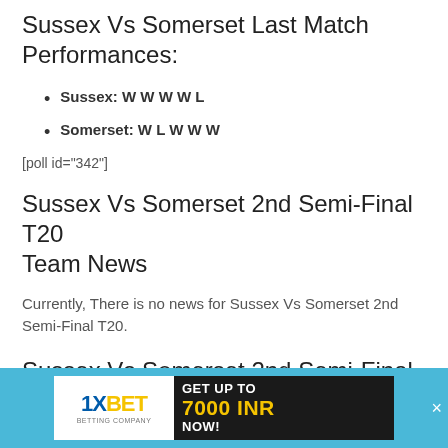Sussex Vs Somerset Last Match Performances:
Sussex: W W W W L
Somerset: W L W W W
[poll id="342"]
Sussex Vs Somerset 2nd Semi-Final T20 Team News
Currently, There is no news for Sussex Vs Somerset 2nd Semi-Final T20.
Sussex Vs Somerset 2nd Semi-Final T20
[Figure (infographic): 1XBET advertisement banner: GET UP TO 7000 INR NOW!]